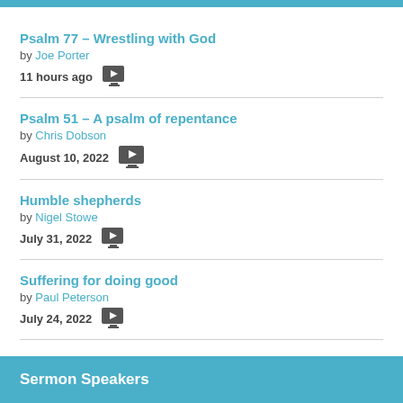Psalm 77 – Wrestling with God
by Joe Porter
11 hours ago
Psalm 51 – A psalm of repentance
by Chris Dobson
August 10, 2022
Humble shepherds
by Nigel Stowe
July 31, 2022
Suffering for doing good
by Paul Peterson
July 24, 2022
Sermon Speakers